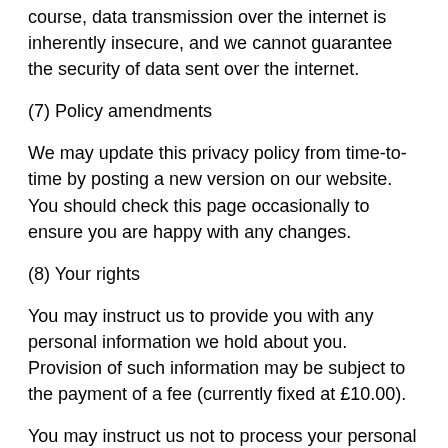course, data transmission over the internet is inherently insecure, and we cannot guarantee the security of data sent over the internet.
(7) Policy amendments
We may update this privacy policy from time-to-time by posting a new version on our website. You should check this page occasionally to ensure you are happy with any changes.
(8) Your rights
You may instruct us to provide you with any personal information we hold about you. Provision of such information may be subject to the payment of a fee (currently fixed at £10.00).
You may instruct us not to process your personal data for marketing purposes. In practice, you will usually either expressly agree in advance to our use of your personal data for marketing purposes, or